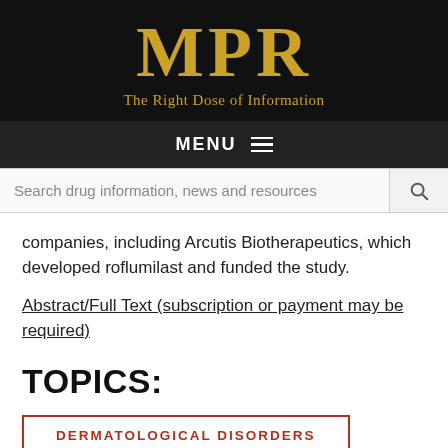MPR — The Right Dose of Information
MENU
Search drug information, news and resources
companies, including Arcutis Biotherapeutics, which developed roflumilast and funded the study.
Abstract/Full Text (subscription or payment may be required)
TOPICS:
DERMATOLOGICAL DISORDERS